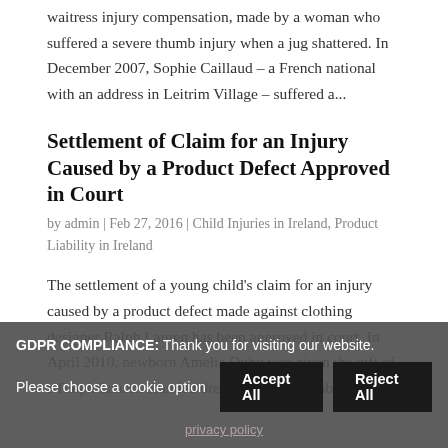waitress injury compensation, made by a woman who suffered a severe thumb injury when a jug shattered. In December 2007, Sophie Caillaud – a French national with an address in Leitrim Village – suffered a...
Settlement of Claim for an Injury Caused by a Product Defect Approved in Court
by admin | Feb 27, 2016 | Child Injuries in Ireland, Product Liability in Ireland
The settlement of a young child's claim for an injury caused by a product defect made against clothing designer Ralph Lauren has been approved in court. In April 2010, newborn Amelia Duhy was given the gift of a Ralph Lauren branded dress and pants combination
GDPR COMPLIANCE: Thank you for visiting our website. Please choose a cookie option